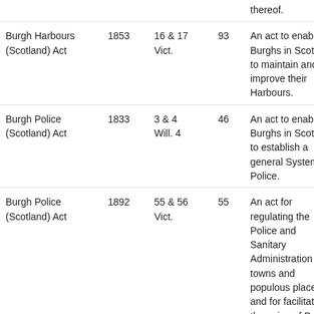| Name | Year | Regnal | Chapter | Description | Link |
| --- | --- | --- | --- | --- | --- |
|  |  |  |  | thereof. |  |
| Burgh Harbours (Scotland) Act | 1853 | 16 & 17 Vict. | 93 | An act to enable Burghs in Scotland to maintain and improve their Harbours. | Vi st |
| Burgh Police (Scotland) Act | 1833 | 3 & 4 Will. 4 | 46 | An act to enable Burghs in Scotland to establish a general System of Police. | Vi st |
| Burgh Police (Scotland) Act | 1892 | 55 & 56 Vict. | 55 | An act for regulating the Police and Sanitary Administration of towns and populous places, and for facilitating the union of Police and Municipal Administration in Burghs in Scotland. | Vi st |